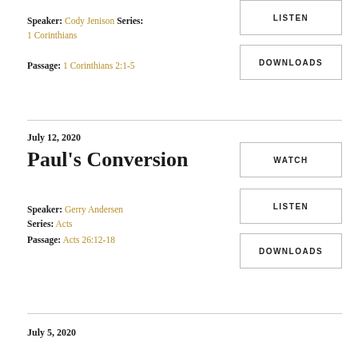Speaker: Cody Jenison Series: 1 Corinthians
Passage: 1 Corinthians 2:1-5
LISTEN
DOWNLOADS
July 12, 2020
Paul's Conversion
Speaker: Gerry Andersen
Series: Acts
Passage: Acts 26:12-18
WATCH
LISTEN
DOWNLOADS
July 5, 2020